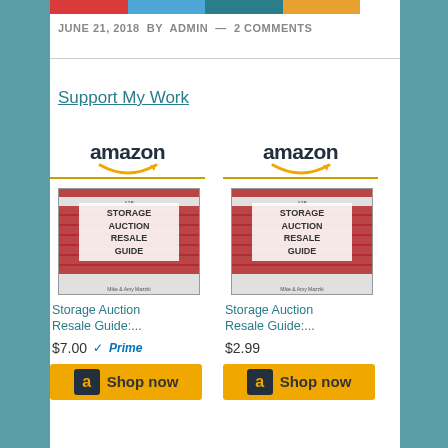JUNE 21, 2018 BY ADMIN — 2 COMMENTS
Support My Work
[Figure (illustration): Two Amazon product listings for 'Storage Auction Resale Guide:...' priced at $7.00 (with Prime) and $2.99, each with a 'Shop now' button]
Storage Auction Resale Guide:...
$7.00  Prime
Storage Auction Resale Guide:...
$2.99